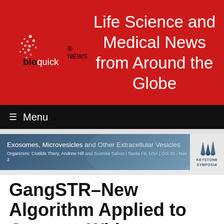[Figure (logo): BioQuick News logo with dotted figure on red background]
Life Science and Medical News from Around the Globe
≡ Menu
[Figure (infographic): Keystone Symposia banner: Exosomes, Microvesicles and Other Extracellular Vesicles. Organizers: Clotilde Thery, Andrew Hill and Susmita Sahoo | Santa Fe, USA | Oct 30 - Nov 2]
GangSTR–New Algorithm Applied to Genome-Wide